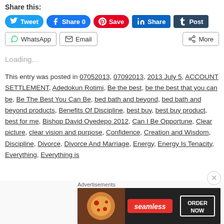Share this:
Tweet | Share 0 | Save | Share | Post
WhatsApp | Email | More
Loading...
This entry was posted in 07052013, 07092013, 2013 July 5, ACCOUNT SETTLEMENT, Adedokun Rotimi, Be the best, be the best that you can be, Be The Best You Can Be, bed bath and beyond, bed bath and beyond products, Benefits Of Discipline, best buy, best buy product, best for me, Bishop David Oyedepo 2012, Can I Be Opportune, Clear picture, clear vision and purpose, Confidence, Creation and Wisdom, Discipline, Divorce, Divorce And Marriage, Energy, Energy Is Tenacity, Everything, Everything is
Advertisements
[Figure (infographic): Seamless food delivery advertisement banner with pizza image, seamless logo, and ORDER NOW button]